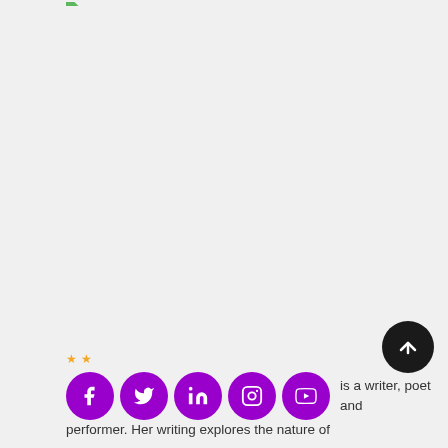[Figure (logo): Small green icon at top left with a horizontal separator line extending to the right]
[Figure (illustration): Large mostly blank/grey area taking up most of the page (image failed to load)]
[Figure (illustration): Dark circular scroll-to-top button with white upward arrow, positioned bottom right]
[Figure (illustration): Row of five purple circular social media icons: Facebook, Twitter, LinkedIn, Instagram, YouTube]
is a writer, poet and performer. Her writing explores the nature of